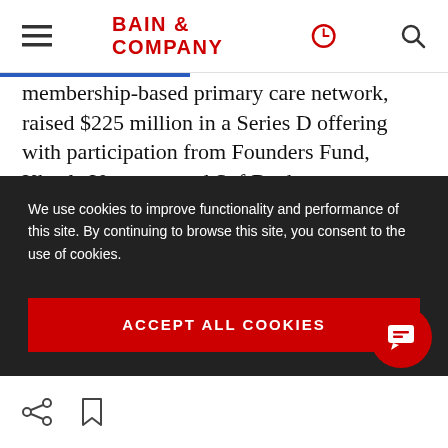BAIN & COMPANY
membership-based primary care network, raised $225 million in a Series D offering with participation from Founders Fund, Khosla Ventures, and SoftBank.
Consolidation in retail health, home services, specialty
We use cookies to improve functionality and performance of this site. By continuing to browse this site, you consent to the use of cookies.
ACCEPT ALL COOKIES